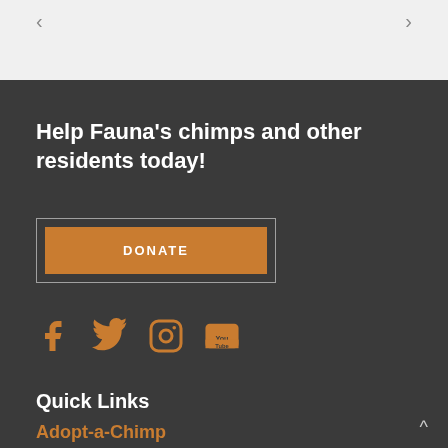[Figure (other): Navigation arrows on light gray background: left arrow on left side, right arrow on right side]
Help Fauna's chimps and other residents today!
[Figure (other): DONATE button in orange with a border outline box around it]
[Figure (other): Social media icons in orange: Facebook, Twitter, Instagram, YouTube]
Quick Links
Adopt-a-Chimp